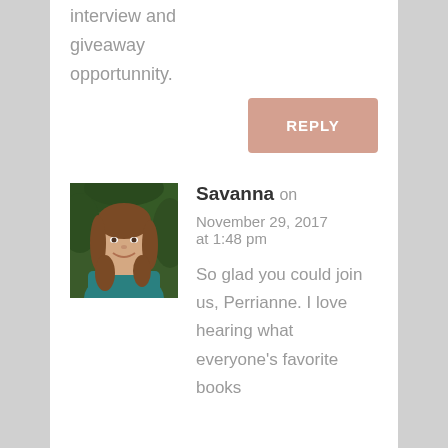interview and giveaway opportunnity.
REPLY
Savanna on November 29, 2017 at 1:48 pm
[Figure (photo): Portrait photo of a young woman with long brown hair, smiling, wearing a teal shirt, with green foliage in background]
So glad you could join us, Perrianne. I love hearing what everyone's favorite books